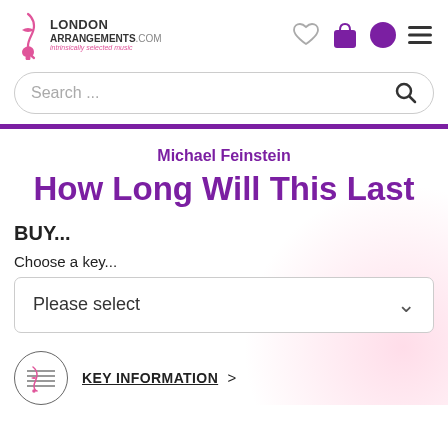London Arrangements .com — intrinsically selected music
Search ...
Michael Feinstein
How Long Will This Last
BUY...
Choose a key...
Please select
KEY INFORMATION >